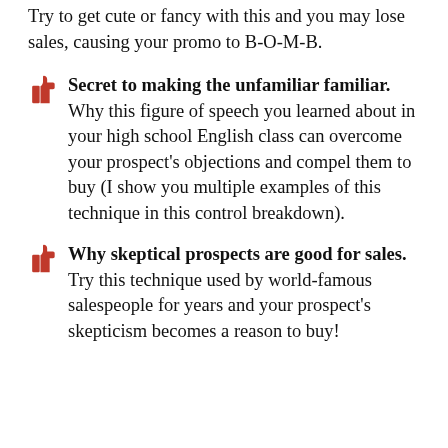Try to get cute or fancy with this and you may lose sales, causing your promo to B-O-M-B.
Secret to making the unfamiliar familiar. Why this figure of speech you learned about in your high school English class can overcome your prospect's objections and compel them to buy (I show you multiple examples of this technique in this control breakdown).
Why skeptical prospects are good for sales. Try this technique used by world-famous salespeople for years and your prospect's skepticism becomes a reason to buy!